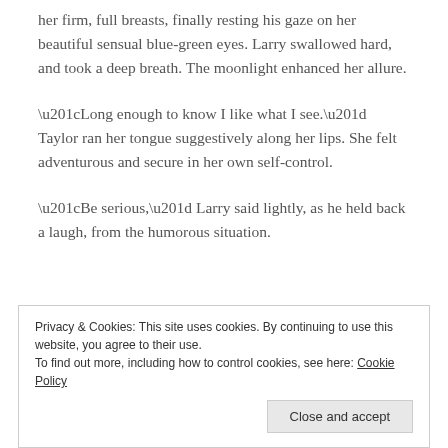her firm, full breasts, finally resting his gaze on her beautiful sensual blue-green eyes. Larry swallowed hard, and took a deep breath. The moonlight enhanced her allure.
“Long enough to know I like what I see.” Taylor ran her tongue suggestively along her lips. She felt adventurous and secure in her own self-control.
“Be serious,” Larry said lightly, as he held back a laugh, from the humorous situation.
Privacy & Cookies: This site uses cookies. By continuing to use this website, you agree to their use.
To find out more, including how to control cookies, see here: Cookie Policy